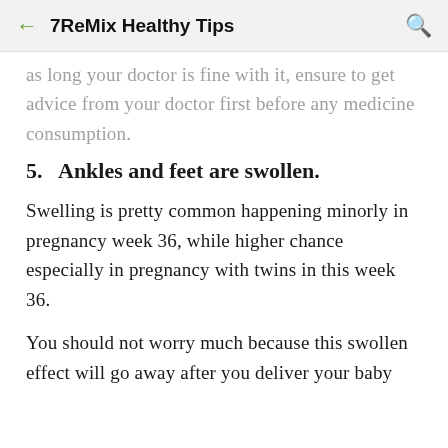7ReMix Healthy Tips
as long your doctor is fine with it, ensure to get advice from your doctor first before any medicine consumption.
5. Ankles and feet are swollen.
Swelling is pretty common happening minorly in pregnancy week 36, while higher chance especially in pregnancy with twins in this week 36.
You should not worry much because this swollen effect will go away after you deliver your baby